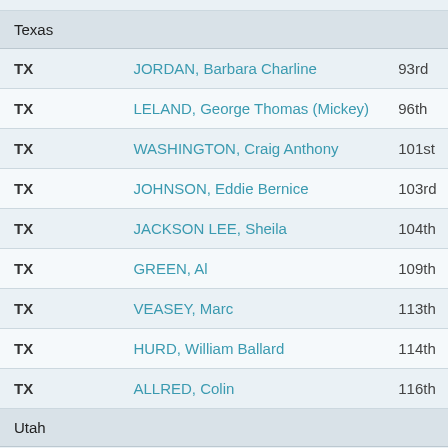| State | Name | Congress |
| --- | --- | --- |
| Texas |  |  |
| TX | JORDAN, Barbara Charline | 93rd |
| TX | LELAND, George Thomas (Mickey) | 96th |
| TX | WASHINGTON, Craig Anthony | 101st |
| TX | JOHNSON, Eddie Bernice | 103rd |
| TX | JACKSON LEE, Sheila | 104th |
| TX | GREEN, Al | 109th |
| TX | VEASEY, Marc | 113th |
| TX | HURD, William Ballard | 114th |
| TX | ALLRED, Colin | 116th |
| Utah |  |  |
| UT | LOVE, Ludmya Bourdeau (Mia) | 114th |